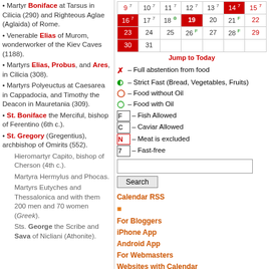Martyr Boniface at Tarsus in Cilicia (290) and Righteous Aglae (Aglaida) of Rome.
Venerable Elias of Murom, wonderworker of the Kiev Caves (1188).
Martyrs Elias, Probus, and Ares, in Cilicia (308).
Martyrs Polyeuctus at Caesarea in Cappadocia, and Timothy the Deacon in Mauretania (309).
St. Boniface the Merciful, bishop of Ferentino (6th c.).
St. Gregory (Gregentius), archbishop of Omirits (552).
Hieromartyr Capito, bishop of Cherson (4th c.).
Martyra Hermylus and Phocas.
Martyrs Eutyches and Thessalonica and with them 200 men and 70 women (Greek).
Sts. George the Scribe and Sava of Nicliani (Athonite).
| 9 | 10 | 11 | 12 | 13 | 14 | 15 |
| 16 | 17 | 18 | 19 | 20 | 21 | 22 |
| 23 | 24 | 25 | 26 | 27 | 28 | 29 |
| 30 | 31 |  |  |  |  |  |
Jump to Today
× – Full abstention from food
⊛ – Strict Fast (Bread, Vegetables, Fruits)
⊕ – Food without Oil
⊕ – Food with Oil
F – Fish Allowed
C – Caviar Allowed
N – Meat is excluded
7 – Fast-free
Calendar RSS | For Bloggers | iPhone App | Android App | For Webmasters | Websites with Calendar | About Calendar | New Calendar Version
Paschalion